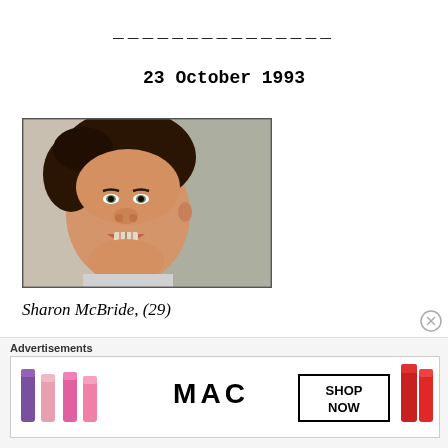_______________
23 October 1993
[Figure (photo): Portrait photograph of Sharon McBride, a woman with dark curly hair, smiling, approximately 29 years old.]
Sharon McBride, (29)
Advertisements
[Figure (photo): MAC Cosmetics advertisement banner showing lipsticks with text SHOP NOW]